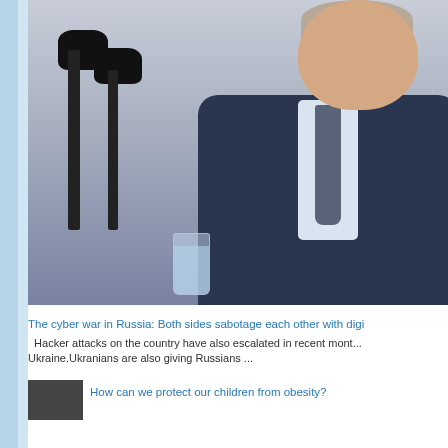[Figure (photo): A man in a dark blue suit with a grey tie standing at a podium with multiple microphones, looking downward. A glass of water is visible on the podium. Background is light grey/architectural.]
The cyber war in Russia: Both sides sabotage each other with digi...
Hacker attacks on the country have also escalated in recent mont... Ukraine.Ukranians are also giving Russians ...
[Figure (photo): Small thumbnail image, dark colored.]
How can we protect our children from obesity?